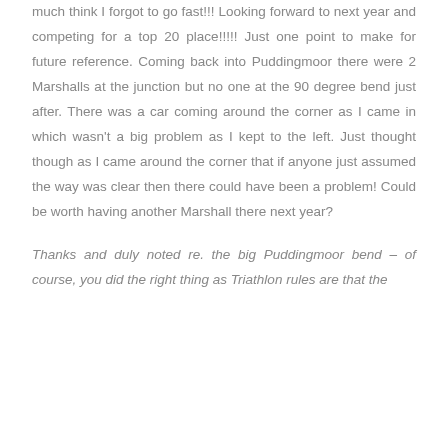much think I forgot to go fast!!! Looking forward to next year and competing for a top 20 place!!!!! Just one point to make for future reference. Coming back into Puddingmoor there were 2 Marshalls at the junction but no one at the 90 degree bend just after. There was a car coming around the corner as I came in which wasn't a big problem as I kept to the left. Just thought though as I came around the corner that if anyone just assumed the way was clear then there could have been a problem! Could be worth having another Marshall there next year?
Thanks and duly noted re. the big Puddingmoor bend – of course, you did the right thing as Triathlon rules are that the